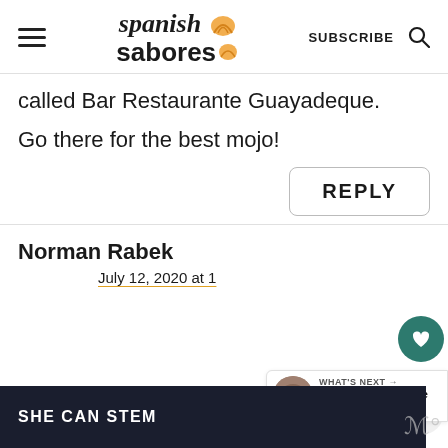spanish sabores — SUBSCRIBE
called Bar Restaurante Guayadeque.
Go there for the best mojo!
REPLY
Norman Rabek
July 12, 2020 at 1
WHAT'S NEXT → Canarian Mojo Verde Sauce...
SHE CAN STEM